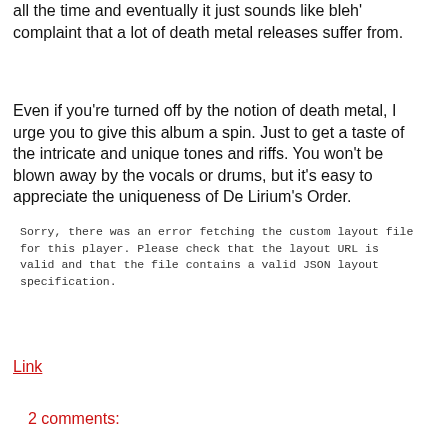all the time and eventually it just sounds like bleh' complaint that a lot of death metal releases suffer from.
Even if you're turned off by the notion of death metal, I urge you to give this album a spin. Just to get a taste of the intricate and unique tones and riffs. You won't be blown away by the vocals or drums, but it's easy to appreciate the uniqueness of De Lirium's Order.
Sorry, there was an error fetching the custom layout file for this player. Please check that the layout URL is valid and that the file contains a valid JSON layout specification.
Link
2 comments: